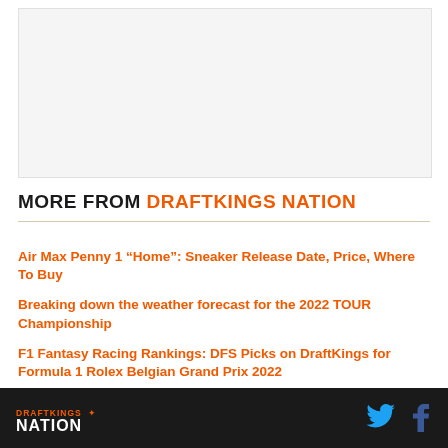[Figure (other): Advertisement placeholder image, light gray background]
MORE FROM DRAFTKINGS NATION
Air Max Penny 1 “Home”: Sneaker Release Date, Price, Where To Buy
Breaking down the weather forecast for the 2022 TOUR Championship
F1 Fantasy Racing Rankings: DFS Picks on DraftKings for Formula 1 Rolex Belgian Grand Prix 2022
NASCAR Fantasy Rankings: DFS Picks on DraftKings for
DRAFTKINGS NATION